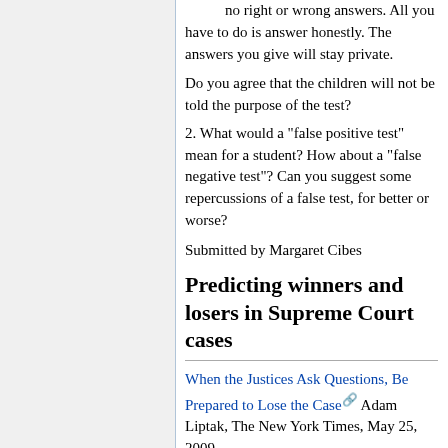no right or wrong answers. All you have to do is answer honestly. The answers you give will stay private.
Do you agree that the children will not be told the purpose of the test?
2. What would a "false positive test" mean for a student? How about a "false negative test"? Can you suggest some repercussions of a false test, for better or worse?
Submitted by Margaret Cibes
Predicting winners and losers in Supreme Court cases
When the Justices Ask Questions, Be Prepared to Lose the Case Adam Liptak, The New York Times, May 25, 2009.